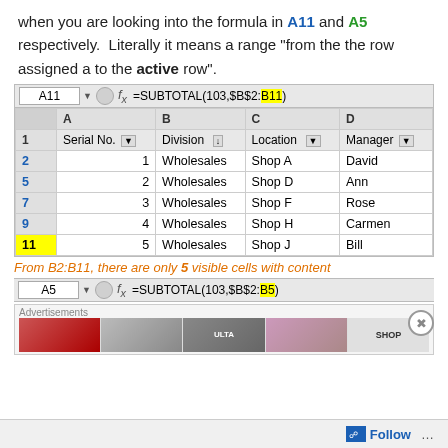when you are looking into the formula in A11 and A5 respectively.  Literally it means a range "from the the row assigned a to the active row".
[Figure (screenshot): Excel spreadsheet screenshot showing formula bar with =SUBTOTAL(103,$B$2:B11) in cell A11, with filtered data showing 5 rows of Wholesales data (rows 2,5,7,9,11) with columns Serial No., Division, Location, Manager. Row 11 highlighted in yellow.]
From B2:B11, there are only 5 visible cells with content
[Figure (screenshot): Second Excel formula bar showing cell A5 with formula =SUBTOTAL(103,$B$2:B5) with B5 highlighted in yellow.]
[Figure (screenshot): Advertisements banner with beauty product images and SHOP button]
Follow ...